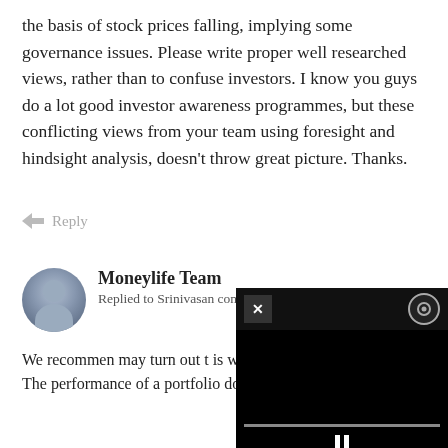the basis of stock prices falling, implying some governance issues. Please write proper well researched views, rather than to confuse investors. I know you guys do a lot good investor awareness programmes, but these conflicting views from your team using foresight and hindsight analysis, doesn't throw great picture. Thanks.
Reply
Moneylife Team
Replied to Srinivasan comment 1 decade ago
We recommen... may turn out t... is why we prin... every issue.
The performance of a portfolio does not
[Figure (screenshot): Video player overlay with close (x) button, settings icon, progress bar, and pause button on a black background]